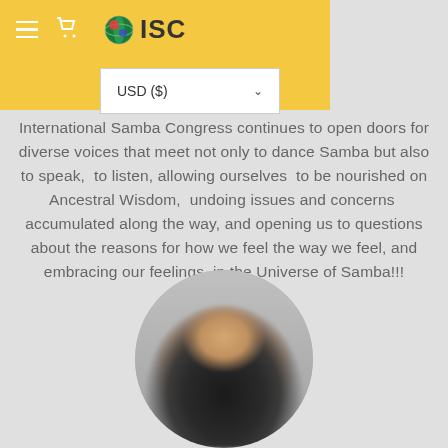[Figure (screenshot): Mobile website navigation bar with yellow background showing hamburger menu icon, cart icon, and ISC (International Samba Congress) globe logo]
[Figure (other): Currency selector dropdown showing USD ($) with a downward chevron arrow]
International Samba Congress continues to open doors for diverse voices that meet not only to dance Samba but also to speak, to listen, allowing ourselves to be nourished on Ancestral Wisdom, undoing issues and concerns accumulated along the way, and opening us to questions about the reasons for how we feel the way we feel, and embracing our feelings in the Universe of Samba!!!
[Figure (photo): Circular portrait photo of a smiling person, slightly blurred]